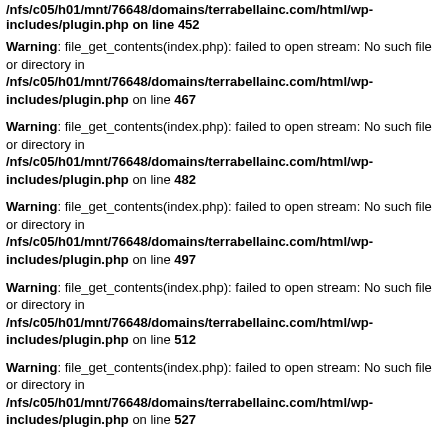/nfs/c05/h01/mnt/76648/domains/terrabellainc.com/html/wp-includes/plugin.php on line 452 (partial, top cut off)
Warning: file_get_contents(index.php): failed to open stream: No such file or directory in /nfs/c05/h01/mnt/76648/domains/terrabellainc.com/html/wp-includes/plugin.php on line 467
Warning: file_get_contents(index.php): failed to open stream: No such file or directory in /nfs/c05/h01/mnt/76648/domains/terrabellainc.com/html/wp-includes/plugin.php on line 482
Warning: file_get_contents(index.php): failed to open stream: No such file or directory in /nfs/c05/h01/mnt/76648/domains/terrabellainc.com/html/wp-includes/plugin.php on line 497
Warning: file_get_contents(index.php): failed to open stream: No such file or directory in /nfs/c05/h01/mnt/76648/domains/terrabellainc.com/html/wp-includes/plugin.php on line 512
Warning: file_get_contents(index.php): failed to open stream: No such file or directory in /nfs/c05/h01/mnt/76648/domains/terrabellainc.com/html/wp-includes/plugin.php on line 527 (partial, bottom cut off)